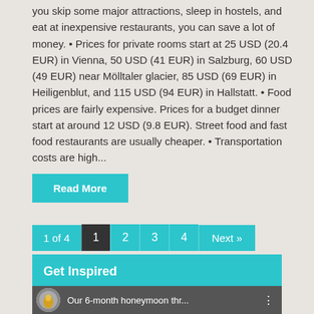you skip some major attractions, sleep in hostels, and eat at inexpensive restaurants, you can save a lot of money. • Prices for private rooms start at 25 USD (20.4 EUR) in Vienna, 50 USD (41 EUR) in Salzburg, 60 USD (49 EUR) near Mölltaler glacier, 85 USD (69 EUR) in Heiligenblut, and 115 USD (94 EUR) in Hallstatt. • Food prices are fairly expensive. Prices for a budget dinner start at around 12 USD (9.8 EUR). Street food and fast food restaurants are usually cheaper. • Transportation costs are high...
Read More
1 of 4   1   2   3   4   Next »
Get Inspired
[Figure (screenshot): Video thumbnail showing 'Our 6-month honeymoon thr...' with a circular logo/avatar on the left]